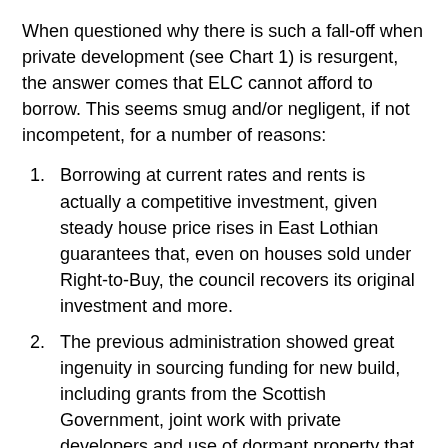When questioned why there is such a fall-off when private development (see Chart 1) is resurgent, the answer comes that ELC cannot afford to borrow. This seems smug and/or negligent, if not incompetent, for a number of reasons:
Borrowing at current rates and rents is actually a competitive investment, given steady house price rises in East Lothian guarantees that, even on houses sold under Right-to-Buy, the council recovers its original investment and more.
The previous administration showed great ingenuity in sourcing funding for new build, including grants from the Scottish Government, joint work with private developers and use of dormant property that officials had not suggested as appropriate.